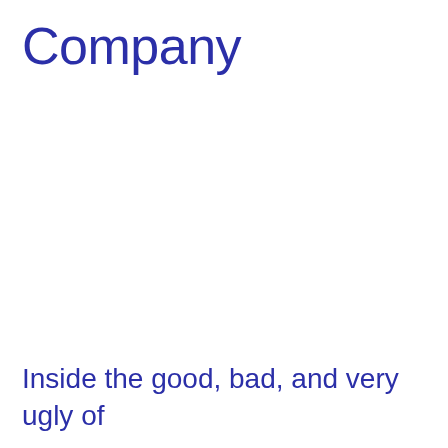Company
Inside the good, bad, and very ugly of